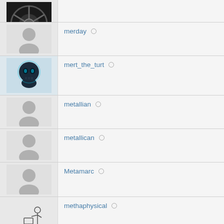(partial avatar - wheel image)
merday ○
mert_the_turt ○
metallian ○
metallican ○
Metamarc ○
methaphysical ○
metrocubo ○